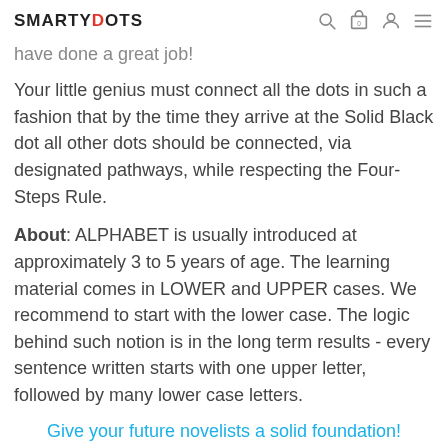SMARTYDOTS
have done a great job!
Your little genius must connect all the dots in such a fashion that by the time they arrive at the Solid Black dot all other dots should be connected, via designated pathways, while respecting the Four-Steps Rule.
About: ALPHABET is usually introduced at approximately 3 to 5 years of age. The learning material comes in LOWER and UPPER cases. We recommend to start with the lower case. The logic behind such notion is in the long term results - every sentence written starts with one upper letter, followed by many lower case letters.
Give your future novelists a solid foundation!